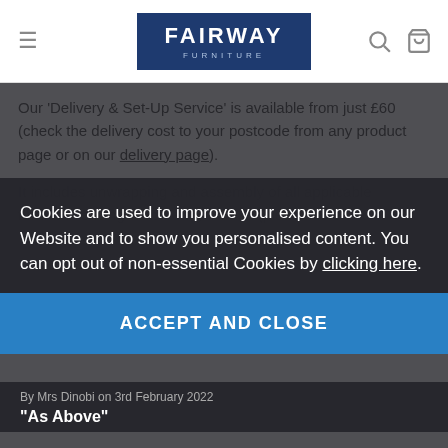Fairway Furniture
Our 'Delivery & Set-Up Service' is available from just £60 (check the delivery cost to your postcode from any product page or on our delivery page).
It includes unwrapping and assembly of all applicable furniture leaving them ready for use (please note that some items are sold as 'part self assembly' or 'flat packed' and as such we do not offer the deluxe delivery service on them - these items are indicated as such). This service also includes the removal of all packaging leaving you free to immediately enjoy your new furniture.
Cookies are used to improve your experience on our Website and to show you personalised content. You can opt out of non-essential Cookies by clicking here.
ACCEPT AND CLOSE
CUSTOMER REVIEWS
By Mrs Dinobi on 3rd February 2022
"As Above"